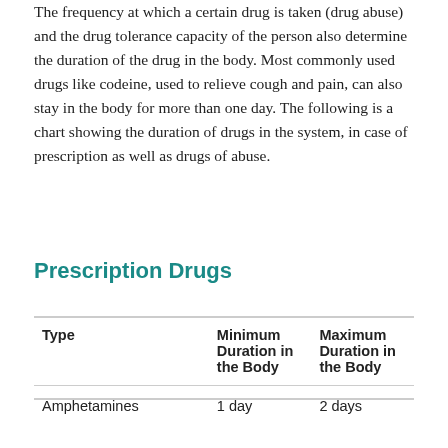The frequency at which a certain drug is taken (drug abuse) and the drug tolerance capacity of the person also determine the duration of the drug in the body. Most commonly used drugs like codeine, used to relieve cough and pain, can also stay in the body for more than one day. The following is a chart showing the duration of drugs in the system, in case of prescription as well as drugs of abuse.
Prescription Drugs
| Type | Minimum Duration in the Body | Maximum Duration in the Body |
| --- | --- | --- |
| Amphetamines | 1 day | 2 days |